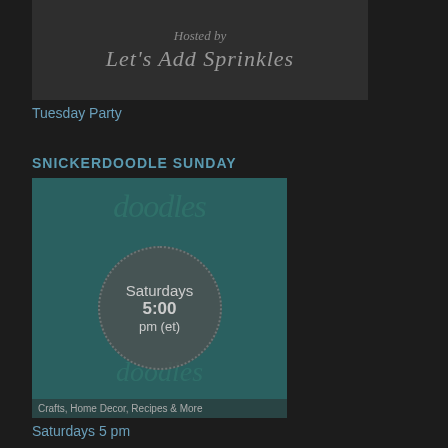[Figure (photo): Dark themed blog graphic with cursive text reading 'Hosted by' and 'Let's Add Sprinkles' on a dark background]
Tuesday Party
SNICKERDOODLE SUNDAY
[Figure (illustration): Teal/dark green square graphic for Snickerdoodle Sunday blog link party, featuring decorative doodle text, a circular badge in center reading 'Saturdays 5:00 pm (et)', and footer text 'Crafts, Home Decor, Recipes & More']
Saturdays 5 pm